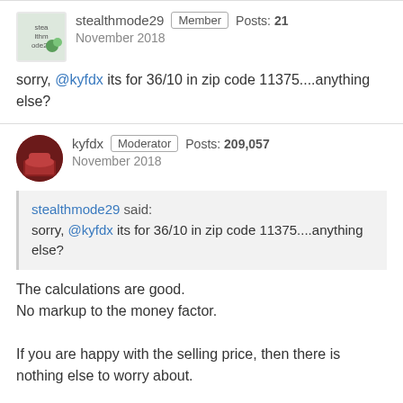stealthmode29 | Member | Posts: 21 | November 2018
sorry, @kyfdx its for 36/10 in zip code 11375....anything else?
kyfdx | Moderator | Posts: 209,057 | November 2018
stealthmode29 said: sorry, @kyfdx its for 36/10 in zip code 11375....anything else?
The calculations are good.
No markup to the money factor.

If you are happy with the selling price, then there is nothing else to worry about.